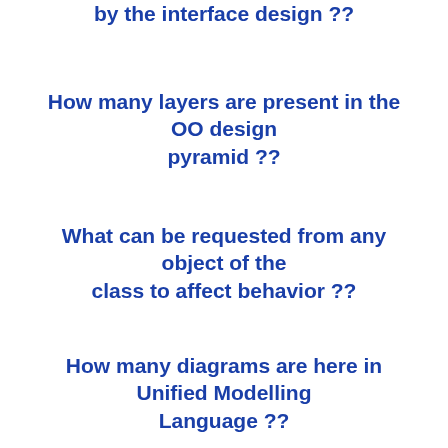by the interface design ??
How many layers are present in the OO design pyramid ??
What can be requested from any object of the class to affect behavior ??
How many diagrams are here in Unified Modelling Language ??